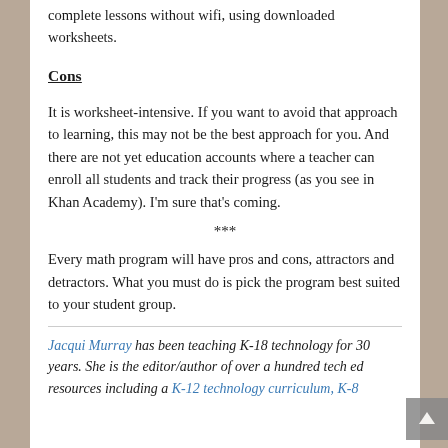complete lessons without wifi, using downloaded worksheets.
Cons
It is worksheet-intensive. If you want to avoid that approach to learning, this may not be the best approach for you. And there are not yet education accounts where a teacher can enroll all students and track their progress (as you see in Khan Academy). I'm sure that's coming.
***
Every math program will have pros and cons, attractors and detractors. What you must do is pick the program best suited to your student group.
Jacqui Murray has been teaching K-18 technology for 30 years. She is the editor/author of over a hundred tech ed resources including a K-12 technology curriculum, K-8